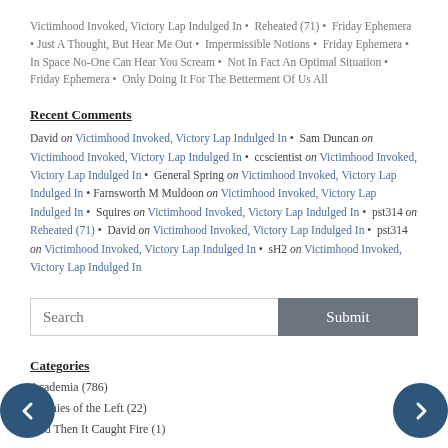Victimhood Invoked, Victory Lap Indulged In • Reheated (71) • Friday Ephemera • Just A Thought, But Hear Me Out • Impermissible Notions • Friday Ephemera • In Space No-One Can Hear You Scream • Not In Fact An Optimal Situation • Friday Ephemera • Only Doing It For The Betterment Of Us All
Recent Comments
David on Victimhood Invoked, Victory Lap Indulged In • Sam Duncan on Victimhood Invoked, Victory Lap Indulged In • ccscientist on Victimhood Invoked, Victory Lap Indulged In • General Spring on Victimhood Invoked, Victory Lap Indulged In • Farnsworth M Muldoon on Victimhood Invoked, Victory Lap Indulged In • Squires on Victimhood Invoked, Victory Lap Indulged In • pst314 on Reheated (71) • David on Victimhood Invoked, Victory Lap Indulged In • pst314 on Victimhood Invoked, Victory Lap Indulged In • sH2 on Victimhood Invoked, Victory Lap Indulged In
Search
Categories
Academia (786)
Agonies of the Left (22)
And Then It Caught Fire (1)